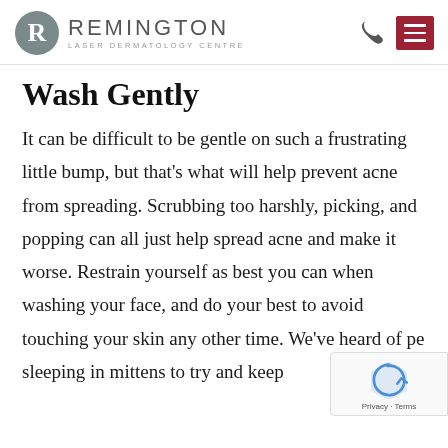REMINGTON LASER DERMATOLOGY CENTRE
Wash Gently
It can be difficult to be gentle on such a frustrating little bump, but that's what will help prevent acne from spreading. Scrubbing too harshly, picking, and popping can all just help spread acne and make it worse. Restrain yourself as best you can when washing your face, and do your best to avoid touching your skin any other time. We've heard of pe sleeping in mittens to try and keep